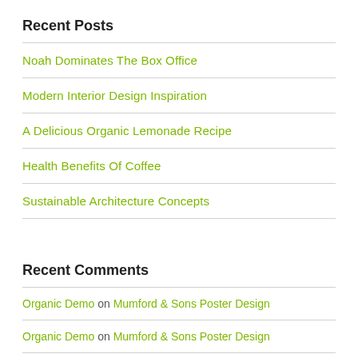Recent Posts
Noah Dominates The Box Office
Modern Interior Design Inspiration
A Delicious Organic Lemonade Recipe
Health Benefits Of Coffee
Sustainable Architecture Concepts
Recent Comments
Organic Demo on Mumford & Sons Poster Design
Organic Demo on Mumford & Sons Poster Design
Organic Demo on Sustainable Architecture Concepts